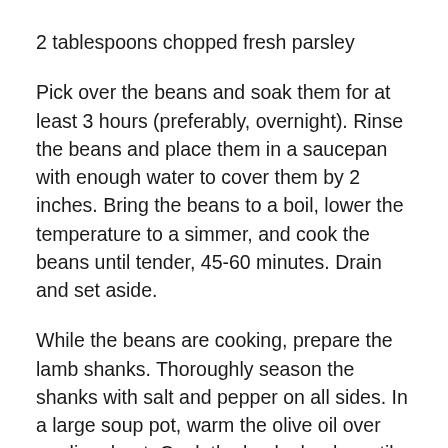2 tablespoons chopped fresh parsley
Pick over the beans and soak them for at least 3 hours (preferably, overnight). Rinse the beans and place them in a saucepan with enough water to cover them by 2 inches. Bring the beans to a boil, lower the temperature to a simmer, and cook the beans until tender, 45-60 minutes. Drain and set aside.
While the beans are cooking, prepare the lamb shanks. Thoroughly season the shanks with salt and pepper on all sides. In a large soup pot, warm the olive oil over medium heat. Cook the lamb shanks until brown, 10-12 minutes. Remove the shanks from the pot and set aside on a plate. Add the onion, celery, and carrots to the pot and cook until the onion softens, about 10 minutes. Add the garlic and cook for 4 minutes. Add the wine in a saucepan over the heat to high...